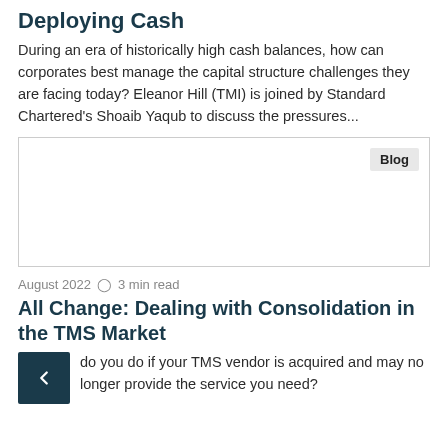Deploying Cash
During an era of historically high cash balances, how can corporates best manage the capital structure challenges they are facing today? Eleanor Hill (TMI) is joined by Standard Chartered's Shoaib Yaqub to discuss the pressures...
[Figure (other): Blog card placeholder image with 'Blog' badge label in top right corner]
August 2022  ⊙  3 min read
All Change: Dealing with Consolidation in the TMS Market
do you do if your TMS vendor is acquired and may no longer provide the service you need?